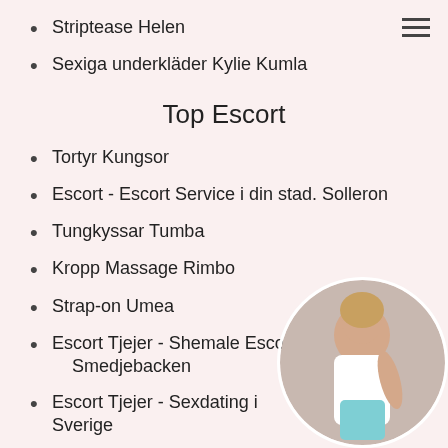Striptease Helen
Sexiga underkläder Kylie Kumla
Top Escort
Tortyr Kungsor
Escort - Escort Service i din stad. Solleron
Tungkyssar Tumba
Kropp Massage Rimbo
Strap-on Umea
Escort Tjejer - Shemale Escort i din stad. Smedjebacken
Escort Tjejer - Sexdating i Sverige
Escort - Sexdating i Sverige Morby
Sex Tjejer - Svensk Sex Dating Beda
Rollspell Alfta
[Figure (photo): Circular cropped photo of a woman in a white outfit posing, bottom-right corner of the page]